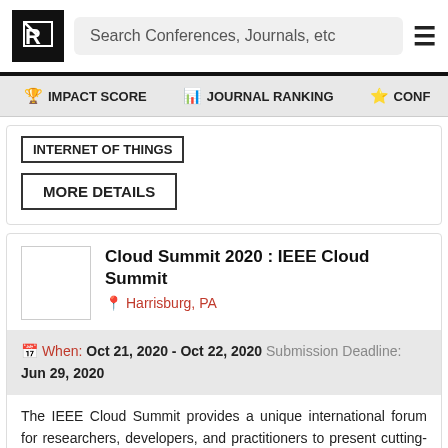Search Conferences, Journals, etc
IMPACT SCORE | JOURNAL RANKING | CONF...
INTERNET OF THINGS
MORE DETAILS
Cloud Summit 2020 : IEEE Cloud Summit
Harrisburg, PA
When: Oct 21, 2020 - Oct 22, 2020 Submission Deadline: Jun 29, 2020
The IEEE Cloud Summit provides a unique international forum for researchers, developers, and practitioners to present cutting-edge research and best practices, and to exchange ideas and views on the f...